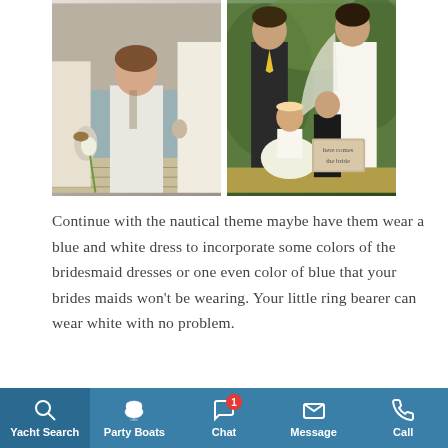[Figure (photo): Left photo: child in white outfit holding flowers at a nautical/dock wedding scene, adults in white visible around]
[Figure (photo): Right photo: wedding couple with flower girl in tutu dress and ring bearer holding 'here comes the bride' sign, outdoor garden setting]
Continue with the nautical theme maybe have them wear a blue and white dress to incorporate some colors of the bridesmaid dresses or one even color of blue that your brides maids won't be wearing. Your little ring bearer can wear white with no problem.
Well deciding on a dress for your wedding can be
Yacht Search  Party Boats  Chat  Message  Call